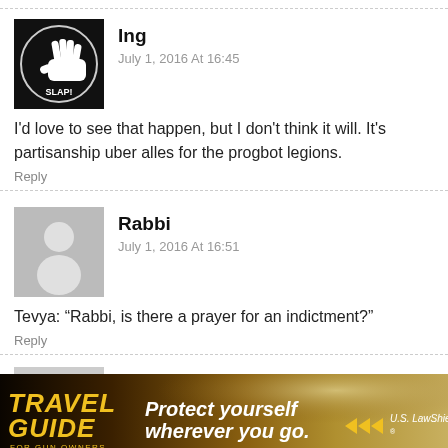Ing
July 1, 2016 At 16:45
I'd love to see that happen, but I don't think it will. It's partisanship uber alles for the progbot legions.
Reply
Rabbi
July 1, 2016 At 16:51
Tevya: “Rabbi, is there a prayer for an indictment?”
Reply
Mikiel
[Figure (photo): Travel Guide for Gun Owners advertisement banner with text 'Protect yourself wherever you go.' and US LawShield branding]